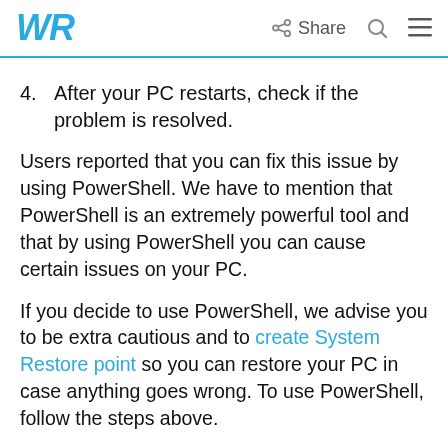WR  Share  [search icon]  [menu icon]
4. After your PC restarts, check if the problem is resolved.
Users reported that you can fix this issue by using PowerShell. We have to mention that PowerShell is an extremely powerful tool and that by using PowerShell you can cause certain issues on your PC.
If you decide to use PowerShell, we advise you to be extra cautious and to create System Restore point so you can restore your PC in case anything goes wrong. To use PowerShell, follow the steps above.
If you find it complicated to use PowerShell, we've